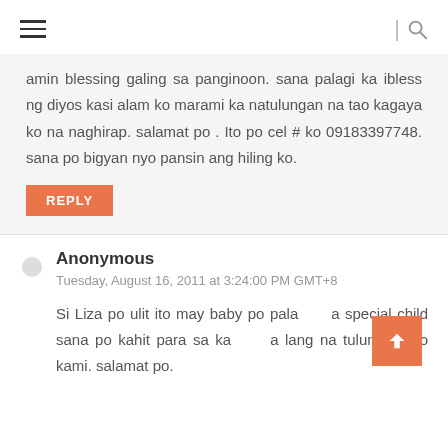amin blessing galing sa panginoon. sana palagi ka ibless ng diyos kasi alam ko marami ka natulungan na tao kagaya ko na naghirap. salamat po . Ito po cel # ko 09183397748. sana po bigyan nyo pansin ang hiling ko.
REPLY
Anonymous
Tuesday, August 16, 2011 at 3:24:00 PM GMT+8
Si Liza po ulit ito may baby po pala a special child sana po kahit para sa ka a lang na tulungan mo kami. salamat po.